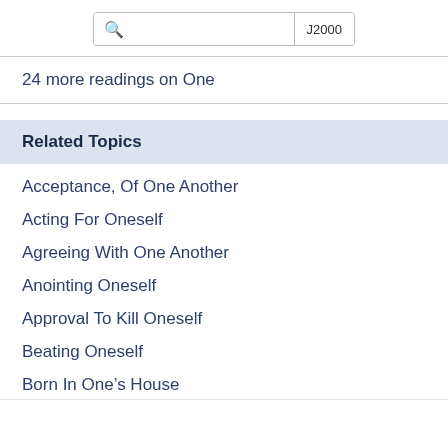J2000
24 more readings on One
Related Topics
Acceptance, Of One Another
Acting For Oneself
Agreeing With One Another
Anointing Oneself
Approval To Kill Oneself
Beating Oneself
Born In One’s House